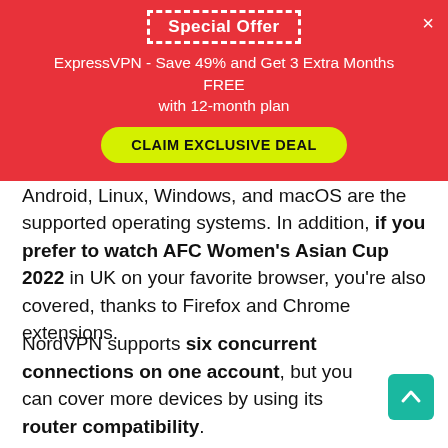Special Offer
ExpressVPN - Save 49% and Get 3 Extra Months FREE with 12-month plan
CLAIM EXCLUSIVE DEAL
applications for all operating systems. iOS, Android, Linux, Windows, and macOS are the supported operating systems. In addition, if you prefer to watch AFC Women's Asian Cup 2022 in UK on your favorite browser, you're also covered, thanks to Firefox and Chrome extensions.
NordVPN supports six concurrent connections on one account, but you can cover more devices by using its router compatibility.